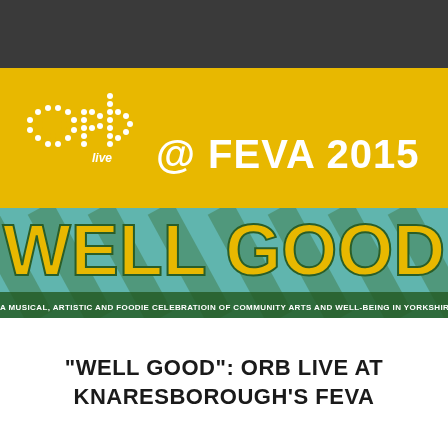[Figure (logo): ORB live @ FEVA 2015 event logo on yellow background with dotted ORB lettering]
WELL GOOD
A MUSICAL, ARTISTIC AND FOODIE CELEBRATIOIN OF COMMUNITY ARTS AND WELL-BEING IN YORKSHIRE
"WELL GOOD": ORB LIVE AT KNARESBOROUGH'S FEVA